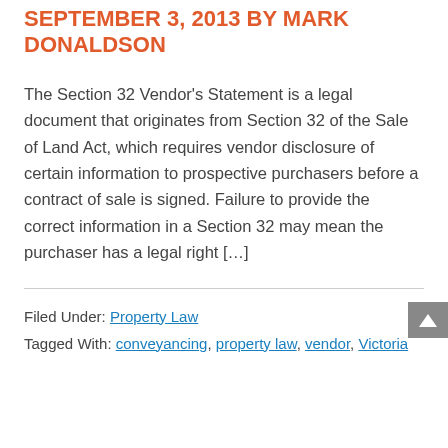SEPTEMBER 3, 2013 BY MARK DONALDSON
The Section 32 Vendor’s Statement is a legal document that originates from Section 32 of the Sale of Land Act, which requires vendor disclosure of certain information to prospective purchasers before a contract of sale is signed. Failure to provide the correct information in a Section 32 may mean the purchaser has a legal right […]
Filed Under: Property Law
Tagged With: conveyancing, property law, vendor, Victoria